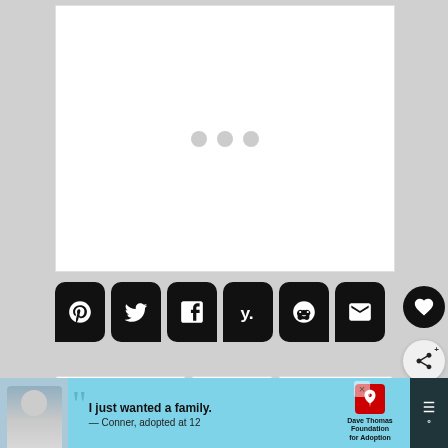[Figure (screenshot): White content area with three grey loading dots centered, indicating loading state]
[Figure (infographic): Row of six black rounded social share buttons: Pinterest, Twitter, Facebook, Yummly, Reddit, Email]
[Figure (infographic): Black circular heart/favorite button and grey circular share button on right side]
[Figure (infographic): Three white card placeholders at bottom]
[Figure (infographic): Advertisement banner: Dave Thomas Foundation for Adoption with quote 'I just wanted a family. — Conner, adopted at 12']